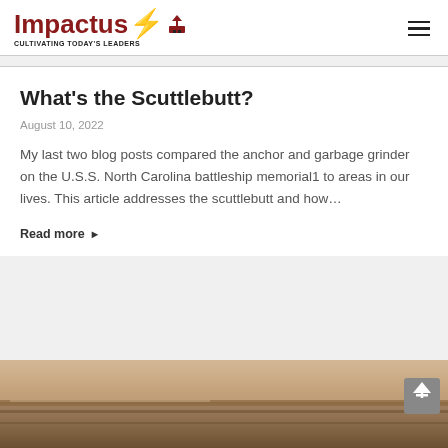Impactus — Cultivating Today's Leaders
What's the Scuttlebutt?
August 10, 2022
My last two blog posts compared the anchor and garbage grinder on the U.S.S. North Carolina battleship memorial1 to areas in our lives. This article addresses the scuttlebutt and how...
Read more ▶
[Figure (photo): Sepia-toned photograph of what appears to be the hull or exterior of a battleship, showing weathered metal surfaces at the bottom of the page.]